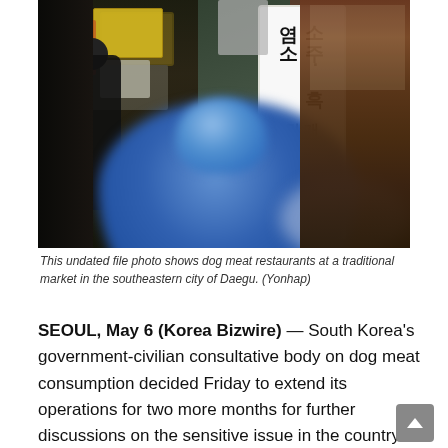[Figure (photo): Photo of dog meat restaurants at a traditional market in the southeastern city of Daegu, South Korea. A blurred blue-jacketed person is in the foreground, with Korean-language signs visible including a white vertical sign and a yellow sign. A dark figure walks in the background.]
This undated file photo shows dog meat restaurants at a traditional market in the southeastern city of Daegu. (Yonhap)
SEOUL, May 6 (Korea Bizwire) — South Korea's government-civilian consultative body on dog meat consumption decided Friday to extend its operations for two more months for further discussions on the sensitive issue in the country.